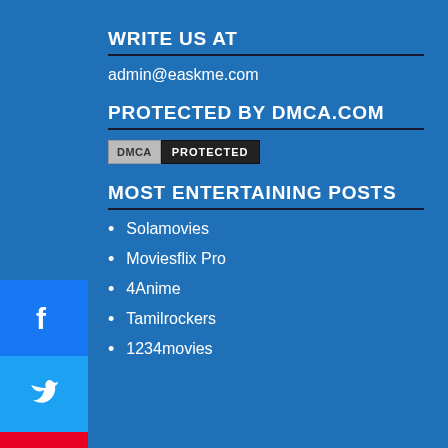WRITE US AT
admin@easkme.com
PROTECTED BY DMCA.COM
[Figure (logo): DMCA Protected badge with gray DMCA label and black PROTECTED label]
MOST ENTERTAINING POSTS
Solamovies
Moviesflix Pro
4Anime
Tamilrockers
1234movies